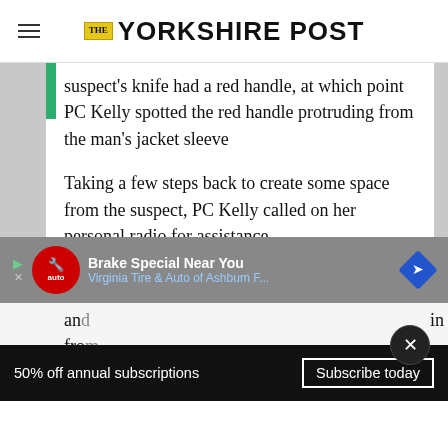THE YORKSHIRE POST
suspect's knife had a red handle, at which point PC Kelly spotted the red handle protruding from the man's jacket sleeve
Taking a few steps back to create some space from the suspect, PC Kelly called on her personal radio for assistance.
The robber realised he had been identified
[Figure (screenshot): Advertisement banner: Brake Special Near You - Virginia Tire & Auto of Ashbum F...]
and ... in fro...
50% off annual subscriptions   Subscribe today